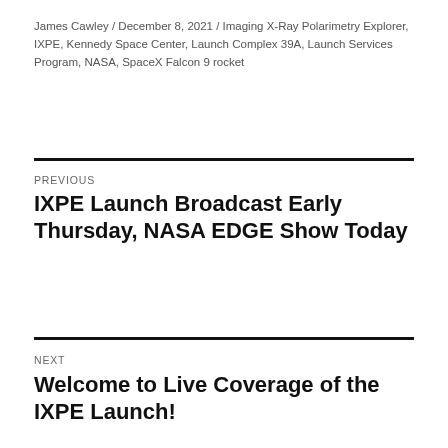James Cawley / December 8, 2021 / Imaging X-Ray Polarimetry Explorer, IXPE, Kennedy Space Center, Launch Complex 39A, Launch Services Program, NASA, SpaceX Falcon 9 rocket
PREVIOUS
IXPE Launch Broadcast Early Thursday, NASA EDGE Show Today
NEXT
Welcome to Live Coverage of the IXPE Launch!